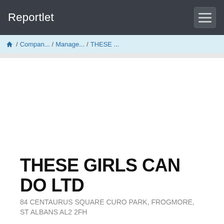Reportlet
/ Compan... / Manage... / THESE ...
THESE GIRLS CAN DO LTD
84 CENTAURUS SQUARE CURO PARK, FROGMORE, ST ALBANS  AL2 2FH